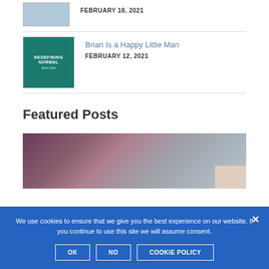FEBRUARY 18, 2021
[Figure (photo): Partial thumbnail of a medical/gloved hands photo]
Brian Is a Happy Little Man
FEBRUARY 12, 2021
[Figure (photo): Book cover with teal/green background reading 'REDEFINING NORMAL']
Featured Posts
[Figure (photo): People joining hands together in a team huddle, partial view]
We use cookies to ensure that we give you the best experience on our website. If you continue to use this site we will assume consent.